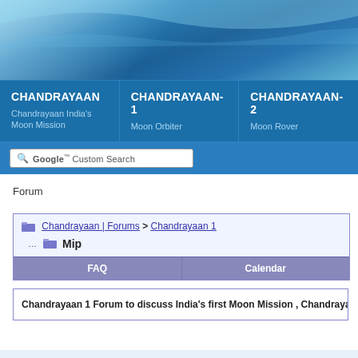[Figure (screenshot): Blue gradient wave header banner for Chandrayaan website]
CHANDRAYAAN | Chandrayaan India's Moon Mission
CHANDRAYAAN-1 | Moon Orbiter
CHANDRAYAAN-2 | Moon Rover
Google Custom Search
Forum
Chandrayaan | Forums > Chandrayaan 1 > Mip
FAQ | Calendar
Chandrayaan 1 Forum to discuss India's first Moon Mission , Chandrayaa